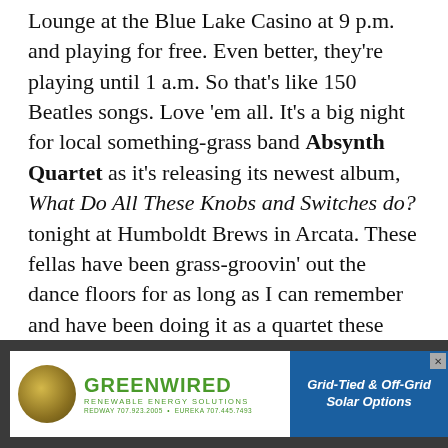Lounge at the Blue Lake Casino at 9 p.m. and playing for free. Even better, they're playing until 1 a.m. So that's like 150 Beatles songs. Love 'em all. It's a big night for local something-grass band Absynth Quartet as it's releasing its newest album, What Do All These Knobs and Switches do? tonight at Humboldt Brews in Arcata. These fellas have been grass-groovin' out the dance floors for as long as I can remember and have been doing it as a quartet these past few years. They're joined at this celebration tonight by fellow locals, Diggin' Dirt with the music starting at 10 p.m. and a $10 ticket price. Pick up an album when at the show, you'll like it and you'll be supporting hard-working local musicians.
Saturday
[Figure (other): Advertisement for Greenwired Renewable Energy Solutions showing a gold circular logo, green 'GREENWIRED' text, tagline 'Renewable Energy Solutions', contact info for Redway and Eureka, and a blue panel with 'Grid-Tied & Off-Grid Solar Options']